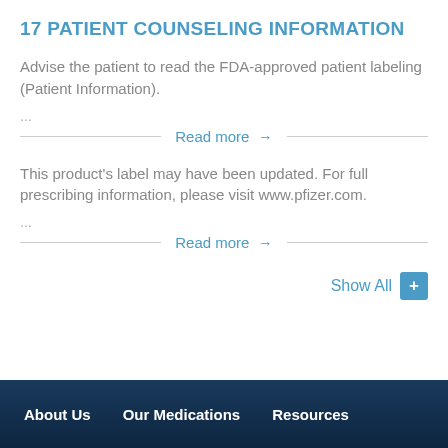17 PATIENT COUNSELING INFORMATION
Advise the patient to read the FDA-approved patient labeling (Patient Information).
...
Read more →
This product's label may have been updated. For full prescribing information, please visit www.pfizer.com.
...
Read more →
Show All +
About Us   Our Medications   Resources